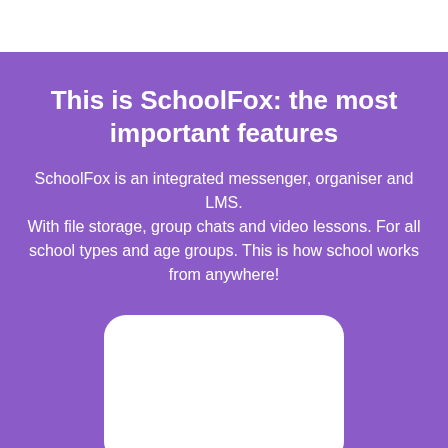This is SchoolFox: the most important features
SchoolFox is an integrated messenger, organiser and LMS.
With file storage, group chats and video lessons. For all school types and age groups. This is how school works from anywhere!
[Figure (illustration): White rounded rectangle card partially visible at the bottom of the purple section]